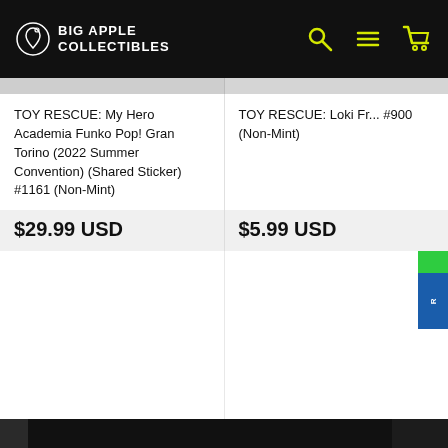BIG APPLE COLLECTIBLES
TOY RESCUE: My Hero Academia Funko Pop! Gran Torino (2022 Summer Convention) (Shared Sticker) #1161 (Non-Mint)
$29.99 USD
TOY RESCUE: Loki Fr... #900 (Non-Mint)
$5.99 USD